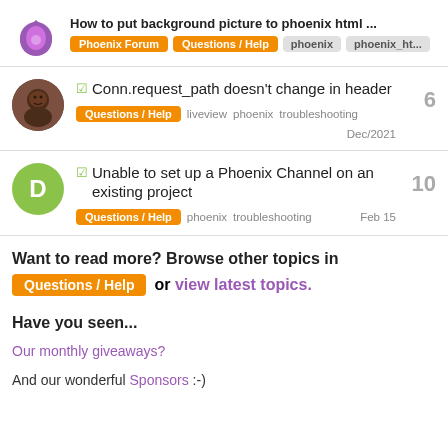How to put background picture to phoenix html ... | Phoenix Forum | Questions / Help | phoenix | phoenix_ht...
☑ Conn.request_path doesn't change in header
Questions / Help  liveview  phoenix  troubleshooting  Dec/2021  6
☑ Unable to set up a Phoenix Channel on an existing project
Questions / Help  phoenix  troubleshooting  Feb 15  10
Want to read more? Browse other topics in Questions / Help or view latest topics.
Have you seen...
Our monthly giveaways?
And our wonderful Sponsors :-)